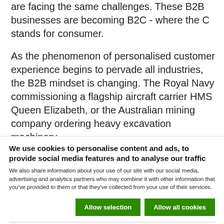are facing the same challenges. These B2B businesses are becoming B2C - where the C stands for consumer.
As the phenomenon of personalised customer experience begins to pervade all industries, the B2B mindset is changing. The Royal Navy commissioning a flagship aircraft carrier HMS Queen Elizabeth, or the Australian mining company ordering heavy excavation machinery,
We use cookies to personalise content and ads, to provide social media features and to analyse our traffic
We also share information about your use of our site with our social media, advertising and analytics partners who may combine it with other information that you've provided to them or that they've collected from your use of their services.
Allow selection | Allow all cookies
Necessary | Preferences | Statistics | Marketing | Show details